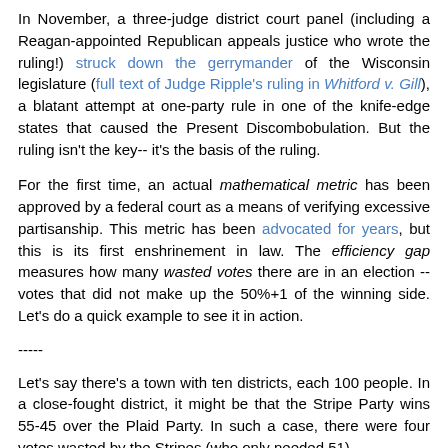In November, a three-judge district court panel (including a Reagan-appointed Republican appeals justice who wrote the ruling!) struck down the gerrymander of the Wisconsin legislature (full text of Judge Ripple's ruling in Whitford v. Gill), a blatant attempt at one-party rule in one of the knife-edge states that caused the Present Discombobulation. But the ruling isn't the key-- it's the basis of the ruling.
For the first time, an actual mathematical metric has been approved by a federal court as a means of verifying excessive partisanship. This metric has been advocated for years, but this is its first enshrinement in law. The efficiency gap measures how many wasted votes there are in an election -- votes that did not make up the 50%+1 of the winning side. Let's do a quick example to see it in action.
-----
Let's say there's a town with ten districts, each 100 people. In a close-fought district, it might be that the Stripe Party wins 55-45 over the Plaid Party. In such a case, there were four votes wasted by the Stripes (who only needed 51),